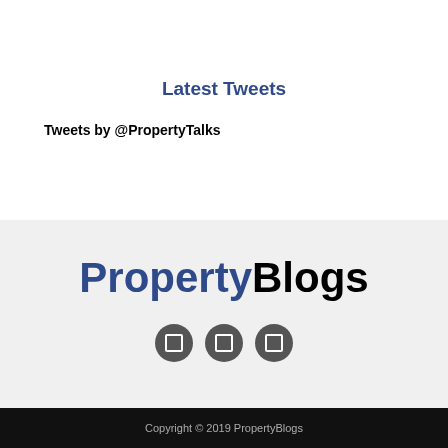Latest Tweets
Tweets by @PropertyTalks
[Figure (logo): PropertyBlogs logo with 'Property' in dark blue and 'Blogs' in black bold text]
[Figure (other): Three dark grey circular social media icon buttons]
Copyright © 2019 PropertyBlogs